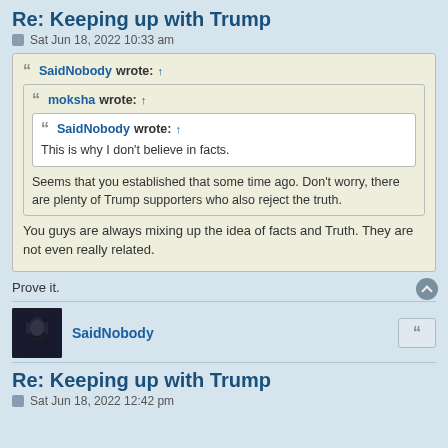Re: Keeping up with Trump
Sat Jun 18, 2022 10:33 am
SaidNobody wrote: ↑
moksha wrote: ↑
SaidNobody wrote: ↑
This is why I don't believe in facts.
Seems that you established that some time ago. Don't worry, there are plenty of Trump supporters who also reject the truth.
You guys are always mixing up the idea of facts and Truth. They are not even really related.
Prove it.
SaidNobody
Re: Keeping up with Trump
Sat Jun 18, 2022 12:42 pm